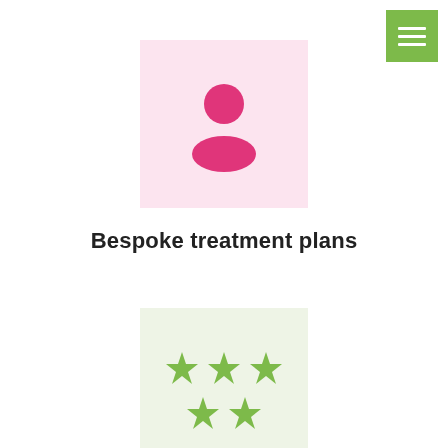[Figure (illustration): Green square button with three horizontal white lines (hamburger menu icon) in top right corner]
[Figure (illustration): Pink square background with a pink person/user silhouette icon in the center]
Bespoke treatment plans
[Figure (illustration): Light green square background with five green stars arranged in two rows (3 on top, 2 on bottom)]
State of the art